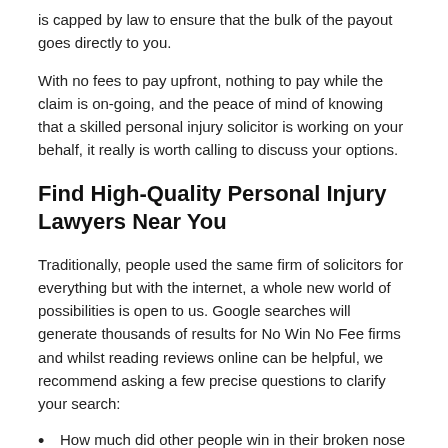is capped by law to ensure that the bulk of the payout goes directly to you.
With no fees to pay upfront, nothing to pay while the claim is on-going, and the peace of mind of knowing that a skilled personal injury solicitor is working on your behalf, it really is worth calling to discuss your options.
Find High-Quality Personal Injury Lawyers Near You
Traditionally, people used the same firm of solicitors for everything but with the internet, a whole new world of possibilities is open to us. Google searches will generate thousands of results for No Win No Fee firms and whilst reading reviews online can be helpful, we recommend asking a few precise questions to clarify your search:
How much did other people win in their broken nose claim?
Were the cases settled by the solicitors in a timely way?
How clear was the client/lawyer communication?
Are they a reputable and long-standing company?